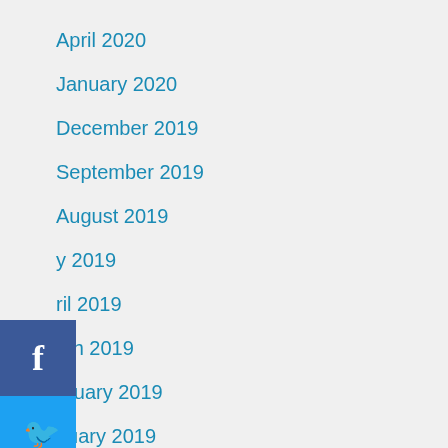April 2020
January 2020
December 2019
September 2019
August 2019
July 2019
April 2019
March 2019
February 2019
January 2019
October 2018
September 2018
August 2018
July 2018
[Figure (infographic): Social media share buttons: Facebook (blue), Twitter (light blue), Pinterest (red), LinkedIn (dark blue)]